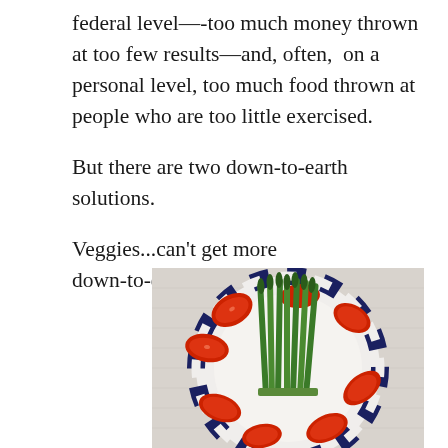federal level—-too much money thrown at too few results—and, often, on a personal level, too much food thrown at people who are too little exercised.
But there are two down-to-earth solutions.
Veggies...can't get more down-to-earth...
[Figure (photo): A plate with blue and white striped border filled with green asparagus in the center and red tomato wedges arranged around the edge, on a light linen background.]